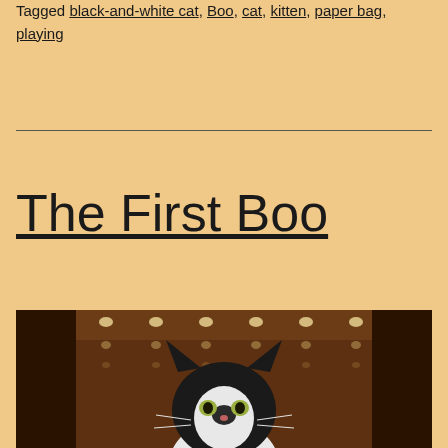Tagged black-and-white cat, Boo, cat, kitten, paper bag, playing
The First Boo
[Figure (photo): A black-and-white kitten (tuxedo cat) peering up from inside a brown paper bag. The cat has large ears, white markings on its face and chest, and yellow-green eyes. The interior of the bag shows rows of circular lights reflected on the brown paper walls.]